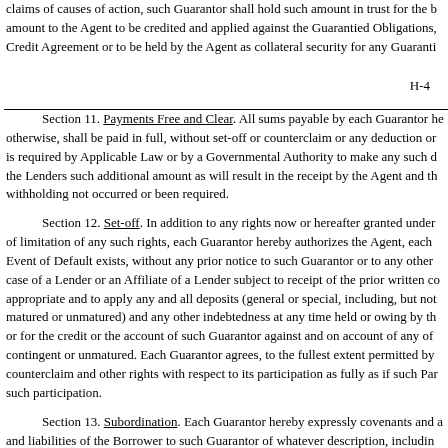claims of causes of action, such Guarantor shall hold such amount in trust for the benefit of the Agent and shall forthwith deliver such amount to the Agent to be credited and applied against the Guarantied Obligations, whether matured or unmatured, under the Credit Agreement or to be held by the Agent as collateral security for any Guarantied Obligations.
H-4
Section 11. Payments Free and Clear. All sums payable by each Guarantor hereunder, whether in respect of principal, interest, fees or otherwise, shall be paid in full, without set-off or counterclaim or any deduction or withholding whatsoever, unless such Guarantor is required by Applicable Law or by a Governmental Authority to make any such deduction or withholding, in which case such Guarantor shall pay to the Lenders such additional amount as will result in the receipt by the Agent and the Lenders of the full amount which would have been received if such withholding not occurred or been required.
Section 12. Set-off. In addition to any rights now or hereafter granted under applicable law and not by way of limitation of any such rights, each Guarantor hereby authorizes the Agent, each Lender and each Affiliate of a Lender, at any time that an Event of Default exists, without any prior notice to such Guarantor or to any other Person, any such notice being expressly waived (in the case of a Lender or an Affiliate of a Lender subject to receipt of the prior written consent of the Agent), to set off and to appropriate and to apply any and all deposits (general or special, including, but not limited to, indebtedness evidenced by certificates of deposit, whether matured or unmatured) and any other indebtedness at any time held or owing by the Agent, such Lender or such Affiliate to or for the credit or the account of such Guarantor against and on account of any of the Guarantied Obligations, whether or not contingent or unmatured. Each Guarantor agrees, to the fullest extent permitted by law, to allow each holder of a participation to exercise set-off, counterclaim and other rights with respect to its participation as fully as if such Party were a direct creditor of such Guarantor in the amount of such participation.
Section 13. Subordination. Each Guarantor hereby expressly covenants and agrees for the benefit of the Agent and the Lenders that all obligations and liabilities of the Borrower to such Guarantor of whatever description, including, without limitation, all intercompany receivables of such Guarantor from the Borrower (collectively, the "Junior Claims") shall be subordinate and junior in right of payment to all Guarantied Obligations. If an Event of Default shall exist, then no Guarantor shall accept any direct or indirect payment (in cash, property, securities, by set-off or otherwise) from the Borrower on account of or in any manner in respect of any Junior Claim until all o